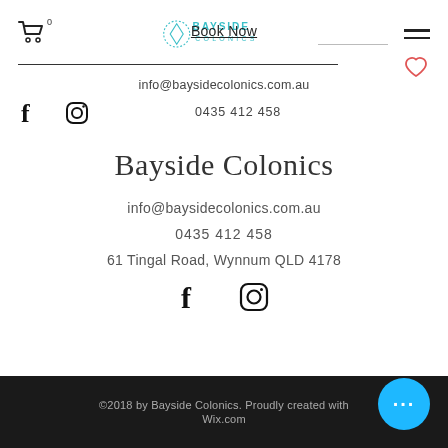[Figure (logo): Bayside Colonics logo with circular diamond icon and teal text]
Book Now
info@baysidecolonics.com.au
0435 412 458
Bayside Colonics
info@baysidecolonics.com.au
0435 412 458
61 Tingal Road, Wynnum QLD 4178
©2018 by Bayside Colonics. Proudly created with Wix.com